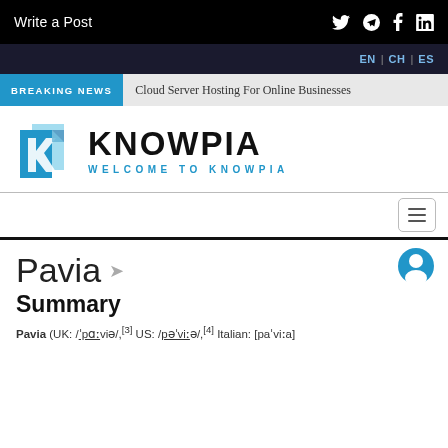Write a Post
EN | CH | ES
BREAKING NEWS  Cloud Server Hosting For Online Businesses
[Figure (logo): Knowpia logo: blue geometric K shape icon with KNOWPIA text and WELCOME TO KNOWPIA subtitle]
hamburger menu icon
Pavia
Summary
Pavia (UK: /ˈpɑːviə/, [3] US: /pəˈviːə/, [4] Italian: [paˈviːa]